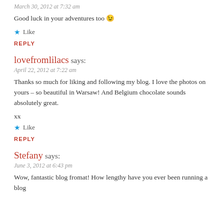March 30, 2012 at 7:32 am
Good luck in your adventures too 😉
★ Like
REPLY
lovefromlilacs says:
April 22, 2012 at 7:22 am
Thanks so much for liking and following my blog. I love the photos on yours – so beautiful in Warsaw! And Belgium chocolate sounds absolutely great.
xx
★ Like
REPLY
Stefany says:
June 3, 2012 at 6:43 pm
Wow, fantastic blog fromat! How lengthy have you ever been running a blog